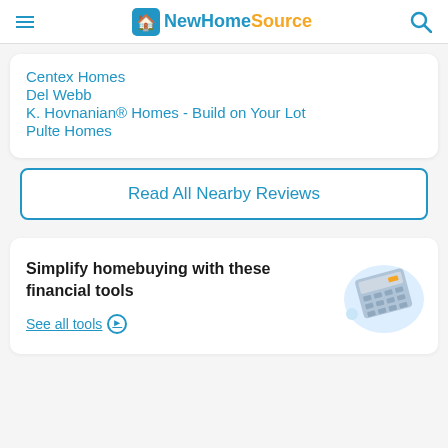NewHomeSource
Centex Homes
Del Webb
K. Hovnanian® Homes - Build on Your Lot
Pulte Homes
Read All Nearby Reviews
Simplify homebuying with these financial tools
See all tools